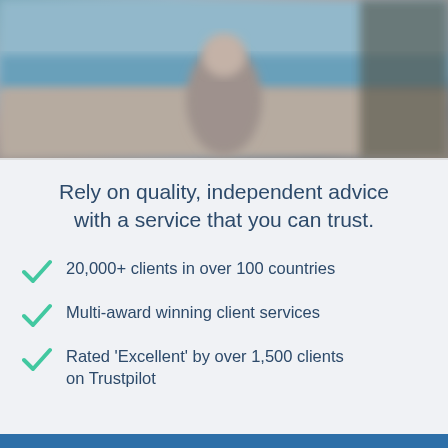[Figure (photo): Blurred outdoor photo of a person standing near a beach/waterfront with trees, blue sky and sea in the background.]
Rely on quality, independent advice with a service that you can trust.
20,000+ clients in over 100 countries
Multi-award winning client services
Rated 'Excellent' by over 1,500 clients on Trustpilot